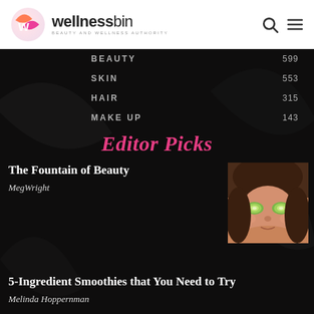wellnessbin — BEAUTY AND WELLNESS AUTHORITY
BEAUTY  599
SKIN  553
HAIR  315
MAKE UP  143
Editor Picks
The Fountain of Beauty
MegWright
[Figure (photo): Woman lying down with cucumber slices over her eyes, spa/beauty treatment]
5-Ingredient Smoothies that You Need to Try
Melinda Hoppernman